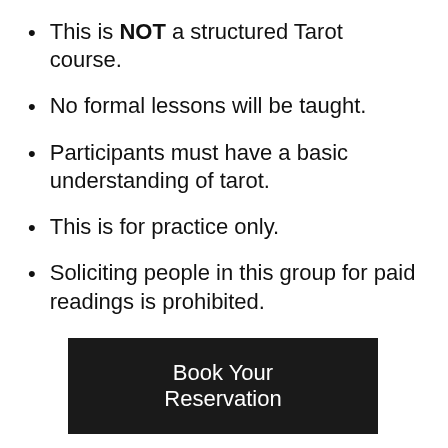This is NOT a structured Tarot course.
No formal lessons will be taught.
Participants must have a basic understanding of tarot.
This is for practice only.
Soliciting people in this group for paid readings is prohibited.
Book Your Reservation